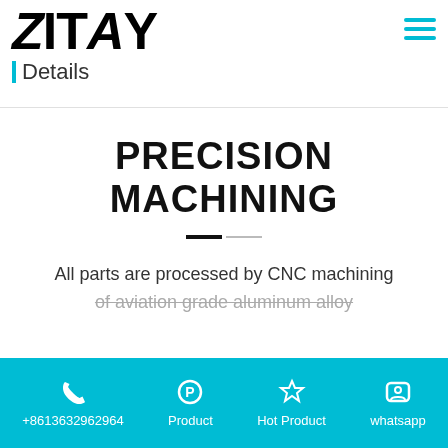[Figure (logo): ZITAY brand logo in bold black text with Details label below, cyan vertical bar accent]
PRECISION MACHINING
All parts are processed by CNC machining of aviation grade aluminum alloy
+8613632962964  Product  Hot Product  whatsapp